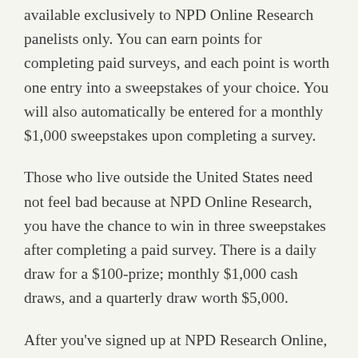available exclusively to NPD Online Research panelists only. You can earn points for completing paid surveys, and each point is worth one entry into a sweepstakes of your choice. You will also automatically be entered for a monthly $1,000 sweepstakes upon completing a survey.
Those who live outside the United States need not feel bad because at NPD Online Research, you have the chance to win in three sweepstakes after completing a paid survey. There is a daily draw for a $100-prize; monthly $1,000 cash draws, and a quarterly draw worth $5,000.
After you've signed up at NPD Research Online, you will receive paid surveys in your email. The